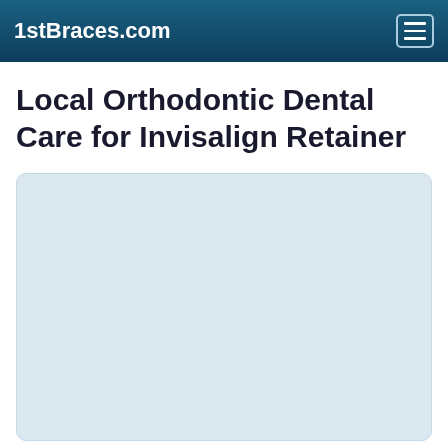1stBraces.com
Local Orthodontic Dental Care for Invisalign Retainer
[Figure (map): A light blue-gray empty map or placeholder container with rounded corners, representing a local orthodontic dental care map for Invisalign Retainer services.]